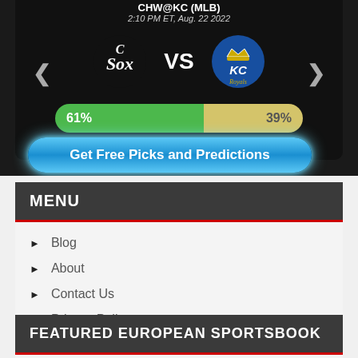[Figure (screenshot): Sports prediction app screenshot showing CHW@KC (MLB) game on 2:10 PM ET, Aug. 22 2022, with White Sox vs KC Royals logos, and a probability bar showing 61% vs 39%]
Get Free Picks and Predictions
MENU
Blog
About
Contact Us
Privacy Policy
Terms of Use
FEATURED EUROPEAN SPORTSBOOK